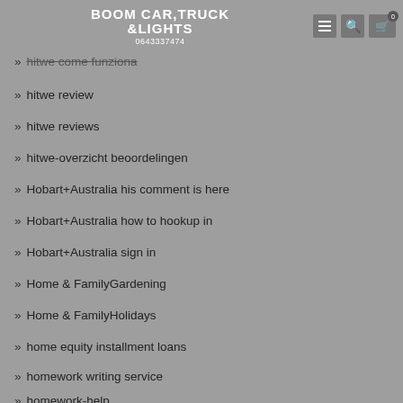BOOM CAR,TRUCK &LIGHTS 0643337474
hitch-home
hitch-inceleme-21969 mobil site
hitwe come funziona
hitwe review
hitwe reviews
hitwe-overzicht beoordelingen
Hobart+Australia his comment is here
Hobart+Australia how to hookup in
Hobart+Australia sign in
Home & FamilyGardening
Home & FamilyHolidays
home equity installment loans
homework writing service
homework-help